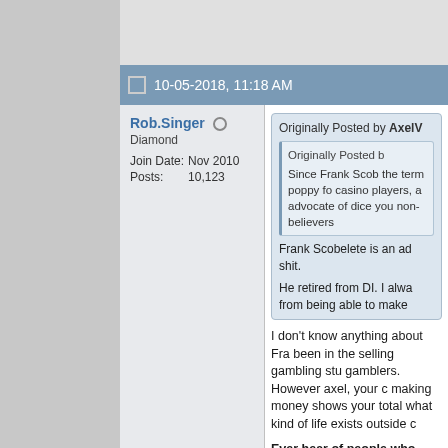10-05-2018, 11:18 AM
Rob.Singer (online)
Diamond
Join Date: Nov 2010
Posts: 10,123
Originally Posted by AxelV
Originally Posted by ...
Since Frank Scob... the term poppy fo... casino players, a... advocate of dice ... you non-believers...
Frank Scobelete is an ad... shit.
He retired from DI. I alwa... from being able to make...
I don't know anything about Fra... been in the selling gambling stu... gamblers. However axel, your c... making money shows your total... what kind of life exists outside c...
Ever hear of people who actu...